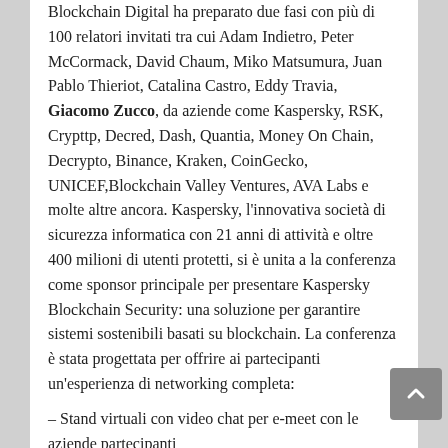Blockchain Digital ha preparato due fasi con più di 100 relatori invitati tra cui Adam Indietro, Peter McCormack, David Chaum, Miko Matsumura, Juan Pablo Thieriot, Catalina Castro, Eddy Travia, Giacomo Zucco, da aziende come Kaspersky, RSK, Crypttp, Decred, Dash, Quantia, Money On Chain, Decrypto, Binance, Kraken, CoinGecko, UNICEF,Blockchain Valley Ventures, AVA Labs e molte altre ancora. Kaspersky, l'innovativa società di sicurezza informatica con 21 anni di attività e oltre 400 milioni di utenti protetti, si è unita a la conferenza come sponsor principale per presentare Kaspersky Blockchain Security: una soluzione per garantire sistemi sostenibili basati su blockchain. La conferenza è stata progettata per offrire ai partecipanti un'esperienza di networking completa:
– Stand virtuali con video chat per e-meet con le aziende partecipanti
– Sale riunioni elettroniche VIP per organizzare riunioni private e scambiarsi biglietti da visita
– E-workshop per saperne di più su Blockchain
– Sale per la pausa caffè elettronico in rete con tutti i partecipanti